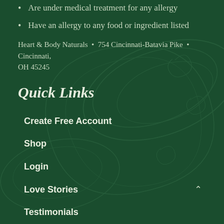Are under medical treatment for any allergy
Have an allergy to any food or ingredient listed
Heart & Body Naturals  •  754 Cincinnati-Batavia Pike  •  Cincinnati, OH 45245
Quick Links
Create Free Account
Shop
Login
Love Stories
Testimonials